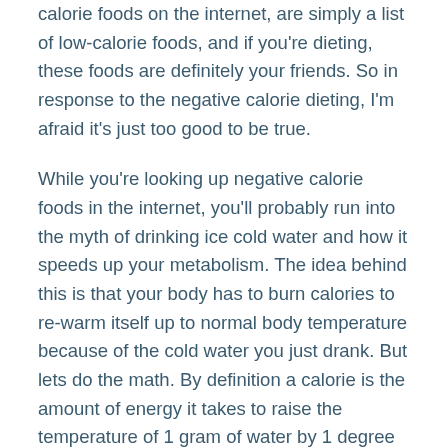calorie foods on the internet, are simply a list of low-calorie foods, and if you're dieting, these foods are definitely your friends. So in response to the negative calorie dieting, I'm afraid it's just too good to be true.
While you're looking up negative calorie foods in the internet, you'll probably run into the myth of drinking ice cold water and how it speeds up your metabolism. The idea behind this is that your body has to burn calories to re-warm itself up to normal body temperature because of the cold water you just drank. But lets do the math. By definition a calorie is the amount of energy it takes to raise the temperature of 1 gram of water by 1 degree Celsius. So, a 16-ounce glass of water is about 470 grams. The temperature of ice water is 0 degrees Celsius and body temperature is about 37 degrees Celsius. So lets do the math, 37 times 470 equals 17,390 calories.